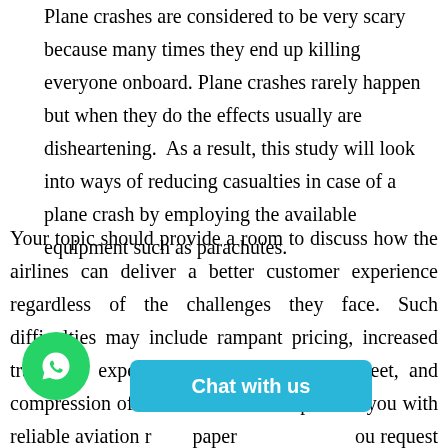Plane crashes are considered to be very scary because many times they end up killing everyone onboard. Plane crashes rarely happen but when they do the effects usually are disheartening.  As a result, this study will look into ways of reducing casualties in case of a plane crash by employing the available equipment such as parachutes.
Your topic should provide a room to discuss how the airlines can deliver a better customer experience regardless of the challenges they face. Such difficulties may include rampant pricing, increased traveller's expectations that are hard to meet, and compression of r[overlaid]. We can provide you with reliable aviation r[overlaid] paper[overlaid] ou request us to. Consider hi[overlaid]sional help with